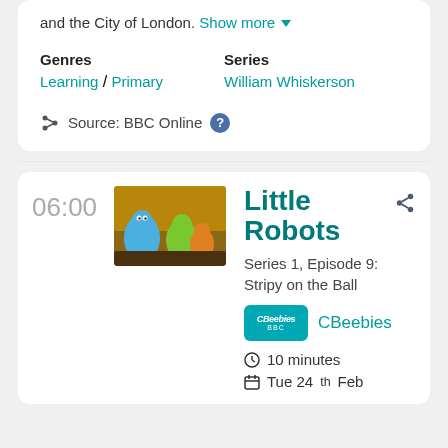and the City of London. Show more
Genres
Learning / Primary
Series
William Whiskerson
Source: BBC Online
06:00
[Figure (photo): Thumbnail image of Little Robots animated characters, colorful robot figures on a scene background]
Little Robots
Series 1, Episode 9: Stripy on the Ball
CBeebies
10 minutes
Tue 24th Feb